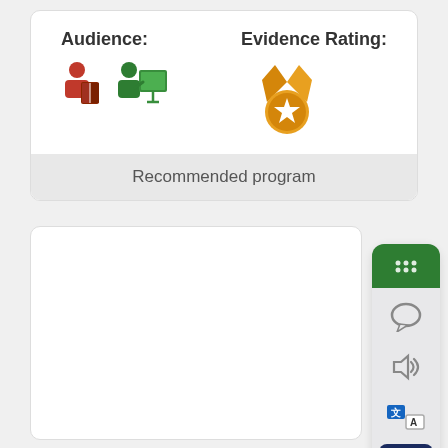Audience:
[Figure (infographic): Two audience icons: a red person with book icon and a green person at presentation/board icon]
Evidence Rating:
[Figure (infographic): Orange medal/award icon with a star, indicating evidence rating]
Recommended program
[Figure (screenshot): A floating toolbar/panel on the right side with a green grip handle at top, followed by icons for: chat bubble, speaker/audio, translation (language switch), and a KANZI button with navy background and up arrow]